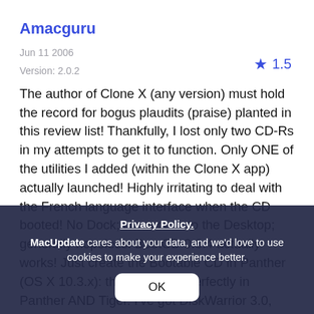Amacguru
Jun 11 2006
Version: 2.0.2
★ 1.5
The author of Clone X (any version) must hold the record for bogus plaudits (praise) planted in this review list! Thankfully, I lost only two CD-Rs in my attempts to get it to function. Only ONE of the utilities I added (within the Clone X app) actually launched! Highly irritating to deal with the French language interface when the CD booted! No Dock; No access to the Desktop; generally hopeless. BootCD 0.6.4 actually works! Just create the Bootable CD in Panther (OS X 10.3.x): the CD works perfectly in Panther AND Tiger. I've got DiskWarrior 3.0, TechTool Pro 4.1.1, Data Rescue II 1.1.1 and Disk Utility all working happily from my bootable CD! AND I have a Dock; Desktop; access to mounted drives; can run other
Privacy Policy.
MacUpdate cares about your data, and we'd love to use cookies to make your experience better.
OK